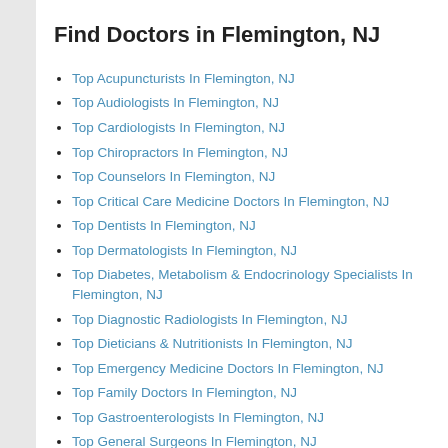Find Doctors in Flemington, NJ
Top Acupuncturists In Flemington, NJ
Top Audiologists In Flemington, NJ
Top Cardiologists In Flemington, NJ
Top Chiropractors In Flemington, NJ
Top Counselors In Flemington, NJ
Top Critical Care Medicine Doctors In Flemington, NJ
Top Dentists In Flemington, NJ
Top Dermatologists In Flemington, NJ
Top Diabetes, Metabolism & Endocrinology Specialists In Flemington, NJ
Top Diagnostic Radiologists In Flemington, NJ
Top Dieticians & Nutritionists In Flemington, NJ
Top Emergency Medicine Doctors In Flemington, NJ
Top Family Doctors In Flemington, NJ
Top Gastroenterologists In Flemington, NJ
Top General Surgeons In Flemington, NJ